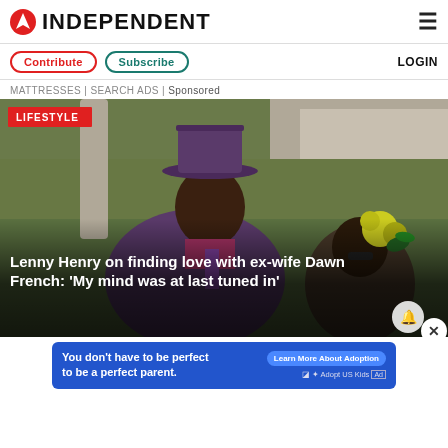INDEPENDENT
Contribute | Subscribe | LOGIN
MATTRESSES | SEARCH ADS | Sponsored
[Figure (photo): Man wearing a purple top hat and purple suit smiling, with a woman partially visible beside him wearing a hat with large yellow flowers, outdoors near stone structures and greenery. Red badge reading LIFESTYLE in top left corner. Article title overlay: Lenny Henry on finding love with ex-wife Dawn French: 'My mind was at last tuned in']
[Figure (infographic): Blue advertisement banner: 'You don't have to be perfect to be a perfect parent.' with 'Learn More About Adoption' button and Adopt US Kids branding with HHS logo.]